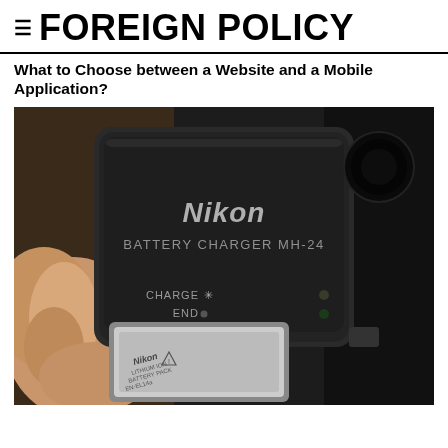≡ FOREIGN POLICY
What to Choose between a Website and a Mobile Application?
[Figure (photo): Close-up photo of a Nikon Battery Charger MH-24 being held in a hand, with a Nikon Lithium Ion Battery Pack EN-EL14a being inserted. The charger shows CHARGE and END indicators. Dark background.]